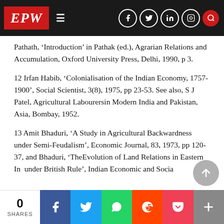EPW navigation bar with logo and social icons
Pathath, 'Introduction' in Pathak (ed.), Agrarian Relations and Accumulation, Oxford University Press, Delhi, 1990, p 3.
12 Irfan Habib, 'Colonialisation of the Indian Economy, 1757-1900', Social Scientist, 3(8), 1975, pp 23-53. See also, S J Patel, Agricultural Labourers in Modern India and Pakistan, Asia, Bombay, 1952.
13 Amit Bhaduri, 'A Study in Agricultural Backwardness under Semi-Feudalism', Economic Journal, 83, 1973, pp 120-37, and Bhaduri, 'The Evolution of Land Relations in Eastern India under British Rule', Indian Economic and Social...
0 SHARES | Facebook | Twitter | WhatsApp | Reddit | Pocket | More